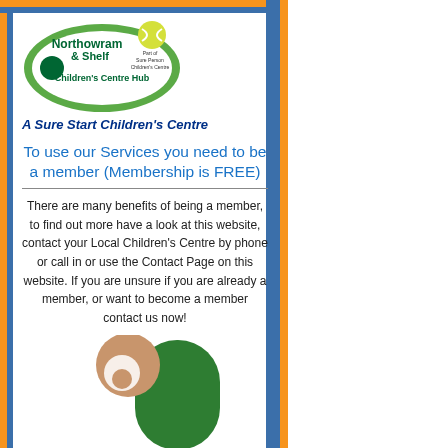[Figure (logo): Northowram & Shelf Children's Centre Hub logo with oval green and yellow design]
A Sure Start Children's Centre
To use our Services you need to be a member (Membership is FREE)
There are many benefits of being a member, to find out more have a look at this website, contact your Local Children's Centre by phone or call in or use the Contact Page on this website. If you are unsure if you are already a member, or want to become a member contact us now!
[Figure (illustration): Illustration of a person/child figure in green and tan/brown colors]